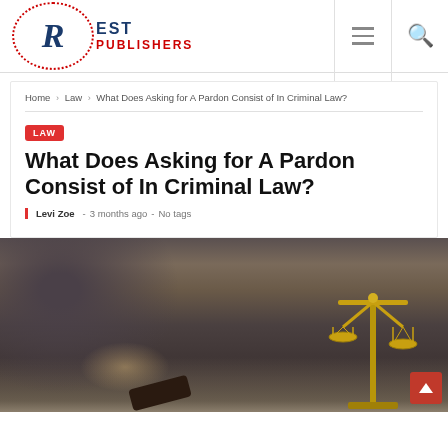Rest Publishers
Home › Law › What Does Asking for A Pardon Consist of In Criminal Law?
LAW
What Does Asking for A Pardon Consist of In Criminal Law?
Levi Zoe - 3 months ago - No tags
[Figure (photo): A lawyer in a dark suit sitting at a desk, holding a pen, with a gavel and golden scales of justice visible on the desk.]